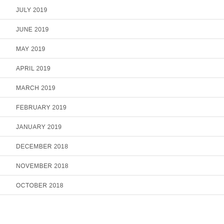JULY 2019
JUNE 2019
MAY 2019
APRIL 2019
MARCH 2019
FEBRUARY 2019
JANUARY 2019
DECEMBER 2018
NOVEMBER 2018
OCTOBER 2018